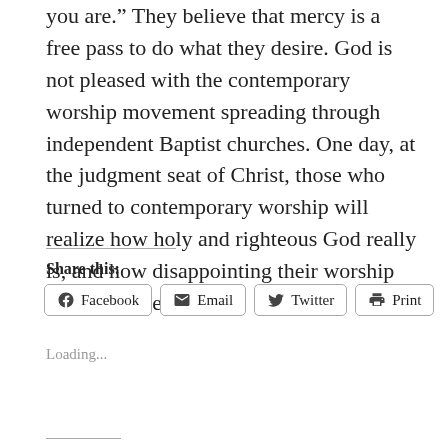you are.” They believe that mercy is a free pass to do what they desire. God is not pleased with the contemporary worship movement spreading through independent Baptist churches. One day, at the judgment seat of Christ, those who turned to contemporary worship will realize how holy and righteous God really is, and how disappointing their worship must have been.
Share this:
Loading...